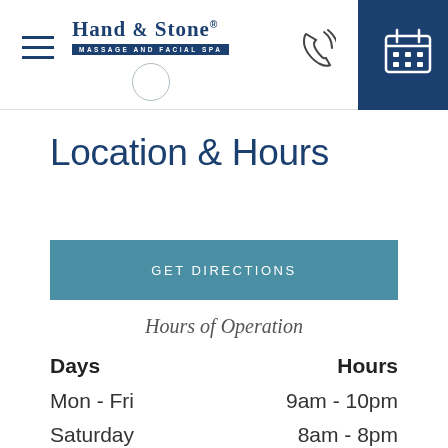Hand & Stone Massage and Facial Spa header navigation
Location & Hours
GET DIRECTIONS
Hours of Operation
| Days | Hours |
| --- | --- |
| Mon - Fri | 9am - 10pm |
| Saturday | 8am - 8pm |
| Sunday | 10am - 6pm |